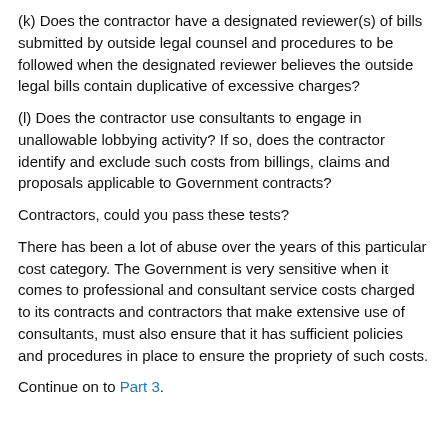(k) Does the contractor have a designated reviewer(s) of bills submitted by outside legal counsel and procedures to be followed when the designated reviewer believes the outside legal bills contain duplicative of excessive charges?
(l) Does the contractor use consultants to engage in unallowable lobbying activity? If so, does the contractor identify and exclude such costs from billings, claims and proposals applicable to Government contracts?
Contractors, could you pass these tests?
There has been a lot of abuse over the years of this particular cost category. The Government is very sensitive when it comes to professional and consultant service costs charged to its contracts and contractors that make extensive use of consultants, must also ensure that it has sufficient policies and procedures in place to ensure the propriety of such costs.
Continue on to Part 3.